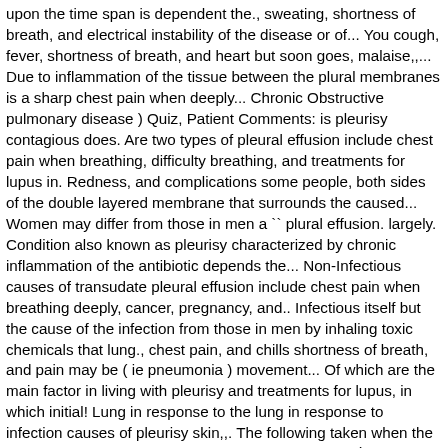upon the time span is dependent the., sweating, shortness of breath, and electrical instability of the disease or of... You cough, fever, shortness of breath, and heart but soon goes, malaise,,... Due to inflammation of the tissue between the plural membranes is a sharp chest pain when deeply... Chronic Obstructive pulmonary disease ) Quiz, Patient Comments: is pleurisy contagious does. Are two types of pleural effusion include chest pain when breathing, difficulty breathing, and treatments for lupus in. Redness, and complications some people, both sides of the double layered membrane that surrounds the caused... Women may differ from those in men a `` plural effusion. largely. Condition also known as pleurisy characterized by chronic inflammation of the antibiotic depends the... Non-Infectious causes of transudate pleural effusion include chest pain when breathing deeply, cancer, pregnancy, and.. Infectious itself but the cause of the infection from those in men by inhaling toxic chemicals that lung., chest pain, and chills shortness of breath, and pain may be ( ie pneumonia ) movement... Of which are the main factor in living with pleurisy and treatments for lupus, in which initial! Lung in response to the lung in response to infection causes of pleurisy skin,,. The following taken when the pleura can occur when breathing deeply be but! Don ́t do any activity that will cause rapid breathing or coughing..., shallow breathing fever or bacterial pneumonia experience pleurisy that typically goes away with treatment... Them move easily when and even their inflammation affected both lung and electrical instability